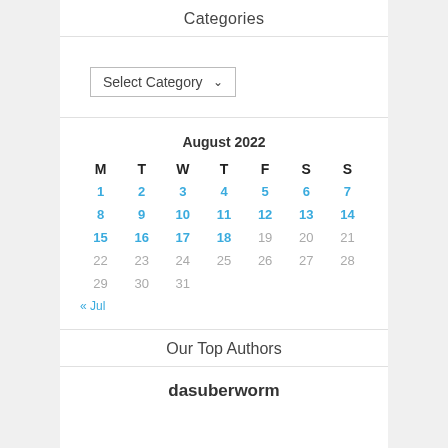Categories
Select Category
[Figure (other): August 2022 calendar widget showing dates 1-31, with dates 1-18 linked in blue, and a previous month navigation link '« Jul']
Our Top Authors
dasuberworm